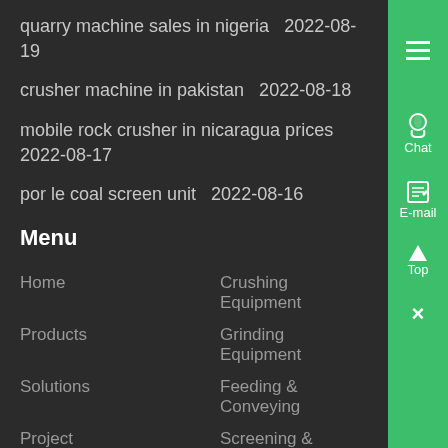quarry machine sales in nigeria  2022-08-19
crusher machine in pakistan  2022-08-18
mobile rock crusher in nicaragua prices  2022-08-17
por le coal screen unit  2022-08-16
Menu
Home
Crushing Equipment
Products
Grinding Equipment
Solutions
Feeding & Conveying
Project
Screening & Washing
About
Portable & Mobile